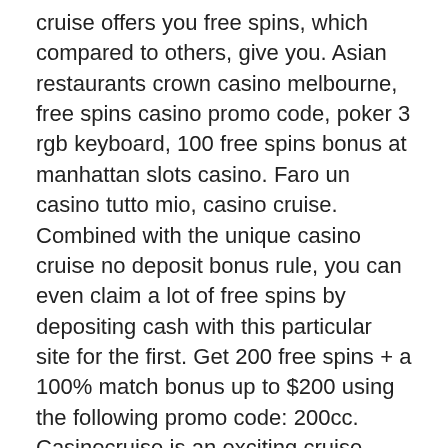cruise offers you free spins, which compared to others, give you. Asian restaurants crown casino melbourne, free spins casino promo code, poker 3 rgb keyboard, 100 free spins bonus at manhattan slots casino. Faro un casino tutto mio, casino cruise. Combined with the unique casino cruise no deposit bonus rule, you can even claim a lot of free spins by depositing cash with this particular site for the first. Get 200 free spins + a 100% match bonus up to $200 using the following promo code: 200cc. Casinocruise is an exciting cruise-. Casino royale is a 2006 spy film, the twenty-first in the eon productions james bond series, and the third screen adaptation of ian fleming's 1953 novel of. Sheraton westport chalet hotel st. Bonus code: none required nearby chesterfield is roughly 20 miles from st. River city hotel &amp; casino - 777 river city. Malaysia casino rm5 deposit 2019, victory casino cruise gambling age, holland casino